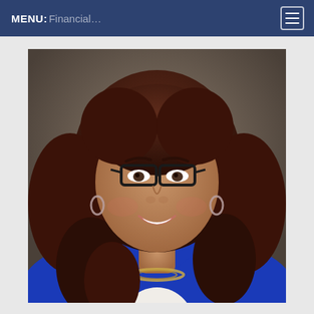MENU: Financial...
[Figure (photo): Professional headshot of a woman with dark brown wavy hair, wearing glasses, a blue blazer, white top, and a silver necklace, smiling against a grey/brown blurred background.]